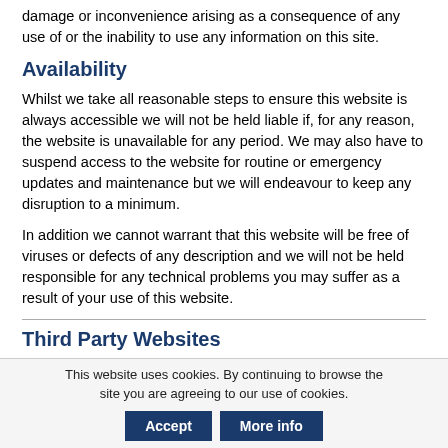damage or inconvenience arising as a consequence of any use of or the inability to use any information on this site.
Availability
Whilst we take all reasonable steps to ensure this website is always accessible we will not be held liable if, for any reason, the website is unavailable for any period. We may also have to suspend access to the website for routine or emergency updates and maintenance but we will endeavour to keep any disruption to a minimum.
In addition we cannot warrant that this website will be free of viruses or defects of any description and we will not be held responsible for any technical problems you may suffer as a result of your use of this website.
Third Party Websites
This website uses cookies. By continuing to browse the site you are agreeing to our use of cookies.
Accept   More info